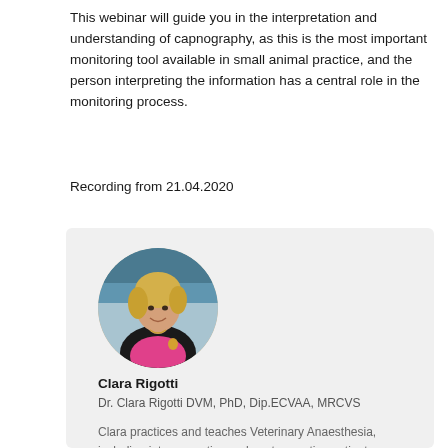This webinar will guide you in the interpretation and understanding of capnography, as this is the most important monitoring tool available in small animal practice, and the person interpreting the information has a central role in the monitoring process.
Recording from 21.04.2020
[Figure (photo): Circular profile photo of Clara Rigotti, a woman with blonde hair wearing a black vest and pink shirt, smiling]
Clara Rigotti
Dr. Clara Rigotti DVM, PhD, Dip.ECVAA, MRCVS
Clara practices and teaches Veterinary Anaesthesia, including intra-operative and post-operative patient care, intensive care and acute and chronic pain management. Clara graduated from the University of Padua, Italy, in 2008. Shortly afterwards she moved to the UK and joined